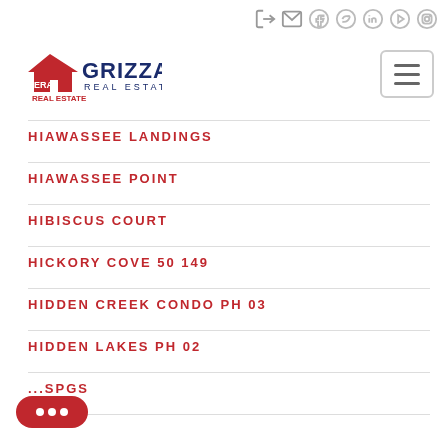[Figure (logo): ERA Grizzard Real Estate logo with house icon]
HIAWASSEE LANDINGS
HIAWASSEE POINT
HIBISCUS COURT
HICKORY COVE 50 149
HIDDEN CREEK CONDO PH 03
HIDDEN LAKES PH 02
...SPGS